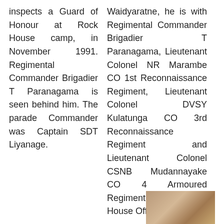inspects a Guard of Honour at Rock House camp, in November 1991. Regimental Commander Brigadier T Paranagama is seen behind him. The parade Commander was Captain SDT Liyanage.
Waidyaratne, he is with Regimental Commander Brigadier T Paranagama, Lieutenant Colonel NR Marambe CO 1st Reconnaissance Regiment, Lieutenant Colonel DVSY Kulatunga CO 3rd Reconnaissance Regiment and Lieutenant Colonel CSNB Mudannayake CO 4 Armoured Regiment at Rock House Officers Mess.
[Figure (photo): Partial photo visible at bottom right of page]